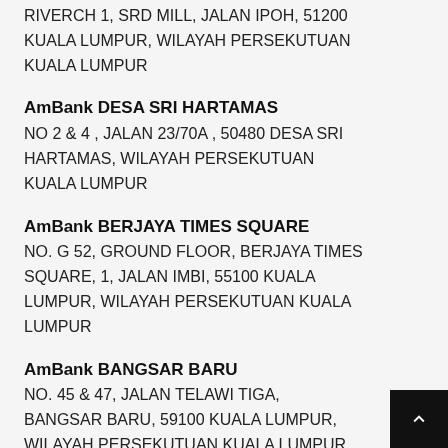RIVERCH 1, SRD MILL, JALAN IPOH, 51200 KUALA LUMPUR, WILAYAH PERSEKUTUAN KUALA LUMPUR
AmBank DESA SRI HARTAMAS
NO 2 & 4 , JALAN 23/70A , 50480 DESA SRI HARTAMAS, WILAYAH PERSEKUTUAN KUALA LUMPUR
AmBank BERJAYA TIMES SQUARE
NO. G 52, GROUND FLOOR, BERJAYA TIMES SQUARE, 1, JALAN IMBI, 55100 KUALA LUMPUR, WILAYAH PERSEKUTUAN KUALA LUMPUR
AmBank BANGSAR BARU
NO. 45 & 47, JALAN TELAWI TIGA, BANGSAR BARU, 59100 KUALA LUMPUR, WILAYAH PERSEKUTUAN KUALA LUMPUR